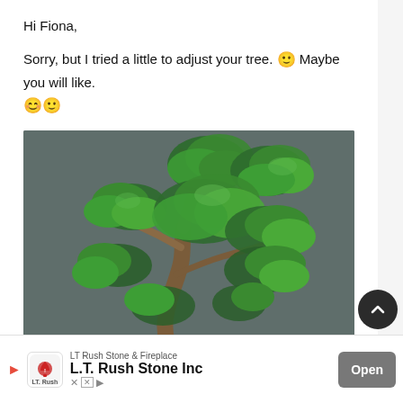Hi Fiona,
Sorry, but I tried a little to adjust your tree. 🙂 Maybe you will like. 😊🙂
[Figure (photo): A bonsai tree with lush green foliage and gnarled brown trunk, photographed against a dark gray background.]
[Figure (screenshot): Advertisement banner for LT Rush Stone & Fireplace / L.T. Rush Stone Inc with Open button]